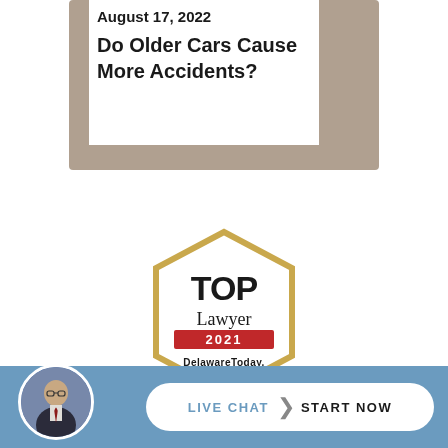August 17, 2022
Do Older Cars Cause More Accidents?
[Figure (logo): TOP Lawyer 2021 Delaware Today hexagon badge with gold border]
[Figure (photo): Circular portrait photo of a lawyer in a suit]
LIVE CHAT  START NOW